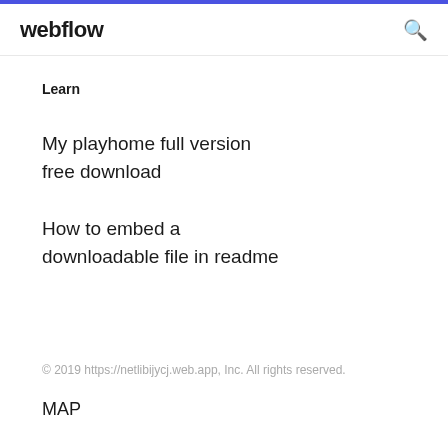webflow
Learn
My playhome full version free download
How to embed a downloadable file in readme
© 2019 https://netlibijycj.web.app, Inc. All rights reserved.
MAP